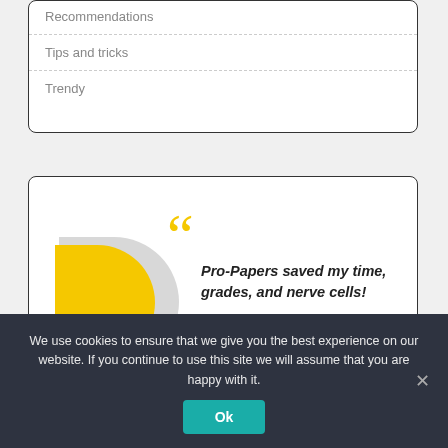Recommendations
Tips and tricks
Trendy
[Figure (infographic): Testimonial card with yellow quote marks, yellow and gray D-shape graphic, italic quote text reading 'Pro-Papers saved my time, grades, and nerve cells!', and a circular photo of a red-haired person.]
We use cookies to ensure that we give you the best experience on our website. If you continue to use this site we will assume that you are happy with it.